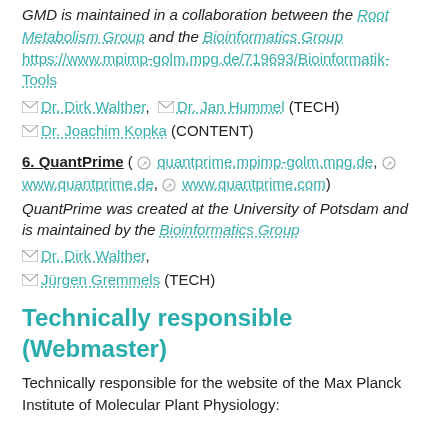GMD is maintained in a collaboration between the Root Metabolism Group and the Bioinformatics Group https://www.mpimp-golm.mpg.de/719693/Bioinformatik-Tools
✉ Dr. Dirk Walther, ✉ Dr. Jan Hummel (TECH)
✉ Dr. Joachim Kopka (CONTENT)
6. QuantPrime ( ⊙ quantprime.mpimp-golm.mpg.de, ⊙ www.quantprime.de, ⊙ www.quantprime.com)
QuantPrime was created at the University of Potsdam and is maintained by the Bioinformatics Group
✉ Dr. Dirk Walther,
✉ Jürgen Gremmels (TECH)
Technically responsible (Webmaster)
Technically responsible for the website of the Max Planck Institute of Molecular Plant Physiology: